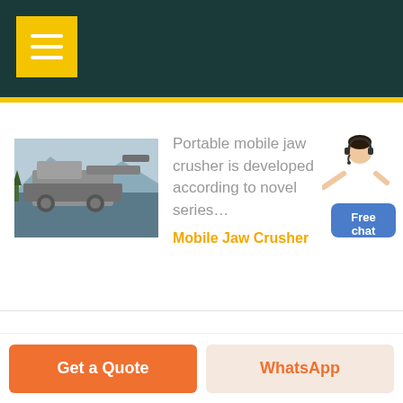Navigation menu header with yellow hamburger button
[Figure (photo): Portable mobile jaw crusher machine outdoors]
Portable mobile jaw crusher is developed according to novel series…
Mobile Jaw Crusher
[Figure (photo): PEW series jaw crusher machine with red circle highlight]
PEW series Jaw crusher features big crushing ratio, reliable…
PEW Jaw Crusher
[Figure (illustration): Customer service representative figure next to Free chat button]
Get a Quote | WhatsApp